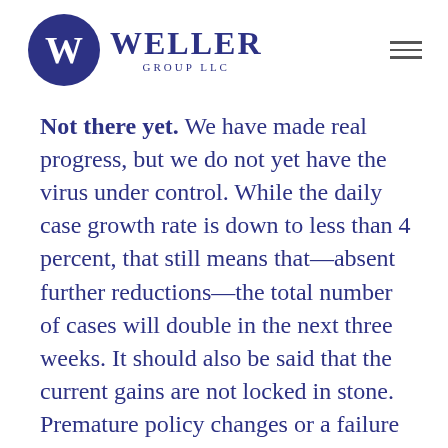Weller Group LLC
Not there yet. We have made real progress, but we do not yet have the virus under control. While the daily case growth rate is down to less than 4 percent, that still means that—absent further reductions—the total number of cases will double in the next three weeks. It should also be said that the current gains are not locked in stone. Premature policy changes or a failure of people to observe prudent behavior could